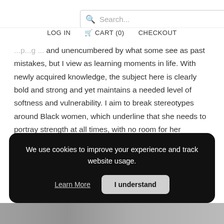Search... | LOG IN | CART (0) | CHECKOUT
and unencumbered by what some see as past mistakes, but I view as learning moments in life. With newly acquired knowledge, the subject here is clearly bold and strong and yet maintains a needed level of softness and vulnerability. I aim to break stereotypes around Black women, which underline that she needs to portray strength at all times, with no room for her feminine softness.
We use cookies to improve your experience and track website usage.
Learn More | I understand